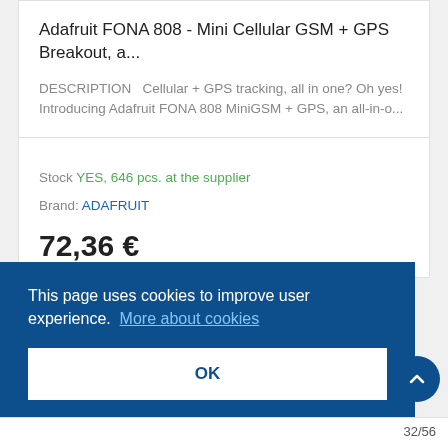Adafruit FONA 808 - Mini Cellular GSM + GPS Breakout, a...
DESCRIPTION   Cellular + GPS tracking, all in one? Oh yes! Introducing Adafruit FONA 808 MiniGSM + GPS, an all-in-o...
Stock YES, 646 pcs. at the supplier
Brand: ADAFRUIT
72,36 €
This page uses cookies to improve user experience.  More about cookies
OK
32/56